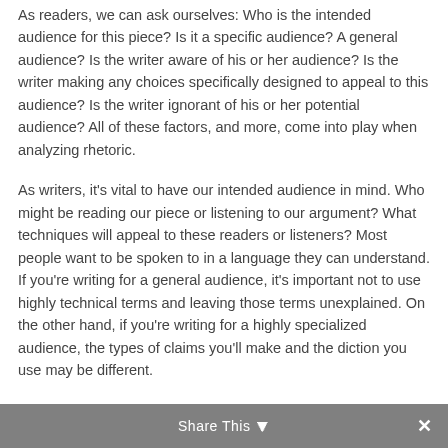As readers, we can ask ourselves: Who is the intended audience for this piece? Is it a specific audience? A general audience? Is the writer aware of his or her audience? Is the writer making any choices specifically designed to appeal to this audience? Is the writer ignorant of his or her potential audience? All of these factors, and more, come into play when analyzing rhetoric.
As writers, it's vital to have our intended audience in mind. Who might be reading our piece or listening to our argument? What techniques will appeal to these readers or listeners? Most people want to be spoken to in a language they can understand. If you're writing for a general audience, it's important not to use highly technical terms and leaving those terms unexplained. On the other hand, if you're writing for a highly specialized audience, the types of claims you'll make and the diction you use may be different.
Share This ×